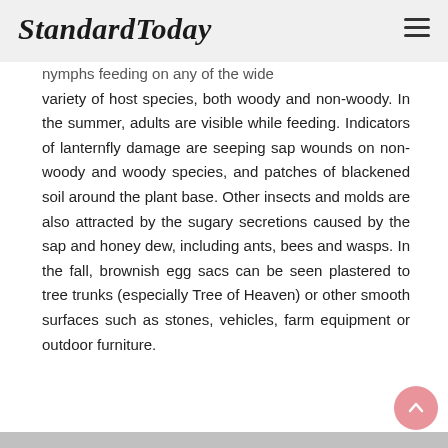StandardToday
nymphs feeding on any of the wide variety of host species, both woody and non-woody. In the summer, adults are visible while feeding. Indicators of lanternfly damage are seeping sap wounds on non-woody and woody species, and patches of blackened soil around the plant base. Other insects and molds are also attracted by the sugary secretions caused by the sap and honey dew, including ants, bees and wasps. In the fall, brownish egg sacs can be seen plastered to tree trunks (especially Tree of Heaven) or other smooth surfaces such as stones, vehicles, farm equipment or outdoor furniture.